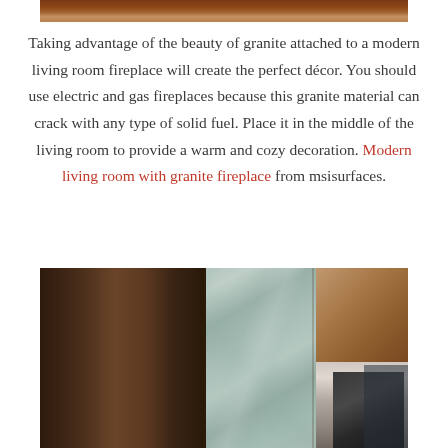[Figure (photo): Partial view of a granite or stone surface, cropped at top of page]
Taking advantage of the beauty of granite attached to a modern living room fireplace will create the perfect décor. You should use electric and gas fireplaces because this granite material can crack with any type of solid fuel. Place it in the middle of the living room to provide a warm and cozy decoration. Modern living room with granite fireplace from msisurfaces.
[Figure (photo): Collage of interior design images showing stone/granite wall panels and a modern room with large windows]